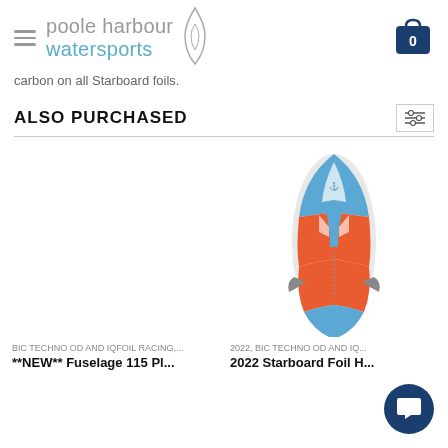poole harbour watersports
carbon on all Starboard foils.
ALSO PURCHASED
[Figure (photo): Product image of a colorful watersports foil board (blue, orange, white) shown from top view]
BIC TECHNO OD AND IQFOIL RACING,...
**NEW** Fuselage 115 Pl...
2022, BIC TECHNO OD AND IQ...
2022 Starboard Foil H...